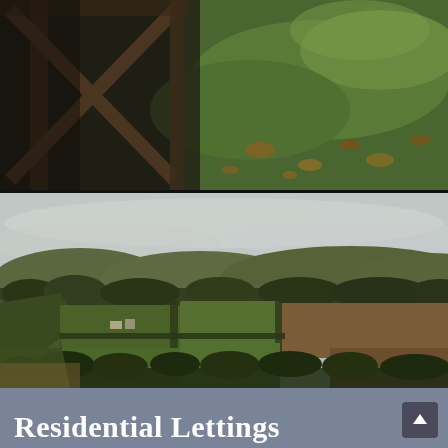[Figure (photo): Close-up of a wooden fence/gate with green grass and autumn leaves on the ground in the background. The fence has diagonal wooden cross-members. Outdoors countryside scene.]
[Figure (photo): Wide panoramic landscape view of rolling English countryside with patchwork fields of green and brown, hedgerows, trees, farm buildings in the valley, and distant hills under an overcast grey sky.]
Residential Lettings